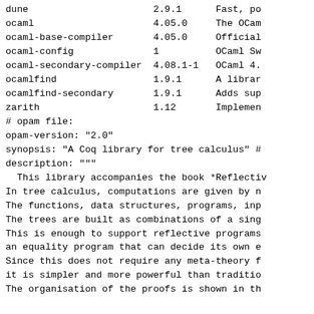| package | version | description |
| --- | --- | --- |
| dune | 2.9.1 | Fast, po |
| ocaml | 4.05.0 | The OCam |
| ocaml-base-compiler | 4.05.0 | Official |
| ocaml-config | 1 | OCaml Sw |
| ocaml-secondary-compiler | 4.08.1-1 | OCaml 4. |
| ocamlfind | 1.9.1 | A librar |
| ocamlfind-secondary | 1.9.1 | Adds sup |
| zarith | 1.12 | Implemen |
# opam file:
opam-version: "2.0"
synopsis: "A Coq library for tree calculus" #
description: """
  This library accompanies the book *Reflectiv
In tree calculus, computations are given by n
The functions, data structures, programs, inp
The trees are built as combinations of a sing
This is enough to support reflective programs
an equality program that can decide its own e
Since this does not require any meta-theory f
it is simpler and more powerful than traditio
The organisation of the proofs is shown in th